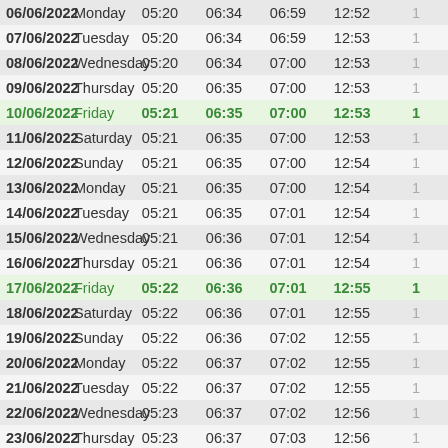| Date | Day | Col3 | Col4 | Col5 | Col6 | Col7 |
| --- | --- | --- | --- | --- | --- | --- |
| 06/06/2022 | Monday | 05:20 | 06:34 | 06:59 | 12:52 | 1 |
| 07/06/2022 | Tuesday | 05:20 | 06:34 | 06:59 | 12:53 | 1 |
| 08/06/2022 | Wednesday | 05:20 | 06:34 | 07:00 | 12:53 | 1 |
| 09/06/2022 | Thursday | 05:20 | 06:35 | 07:00 | 12:53 | 1 |
| 10/06/2022 | Friday | 05:21 | 06:35 | 07:00 | 12:53 | 1 |
| 11/06/2022 | Saturday | 05:21 | 06:35 | 07:00 | 12:53 | 1 |
| 12/06/2022 | Sunday | 05:21 | 06:35 | 07:00 | 12:54 | 1 |
| 13/06/2022 | Monday | 05:21 | 06:35 | 07:00 | 12:54 | 1 |
| 14/06/2022 | Tuesday | 05:21 | 06:35 | 07:01 | 12:54 | 1 |
| 15/06/2022 | Wednesday | 05:21 | 06:36 | 07:01 | 12:54 | 1 |
| 16/06/2022 | Thursday | 05:21 | 06:36 | 07:01 | 12:54 | 1 |
| 17/06/2022 | Friday | 05:22 | 06:36 | 07:01 | 12:55 | 1 |
| 18/06/2022 | Saturday | 05:22 | 06:36 | 07:01 | 12:55 | 1 |
| 19/06/2022 | Sunday | 05:22 | 06:36 | 07:02 | 12:55 | 1 |
| 20/06/2022 | Monday | 05:22 | 06:37 | 07:02 | 12:55 | 1 |
| 21/06/2022 | Tuesday | 05:22 | 06:37 | 07:02 | 12:55 | 1 |
| 22/06/2022 | Wednesday | 05:23 | 06:37 | 07:02 | 12:56 | 1 |
| 23/06/2022 | Thursday | 05:23 | 06:37 | 07:03 | 12:56 | 1 |